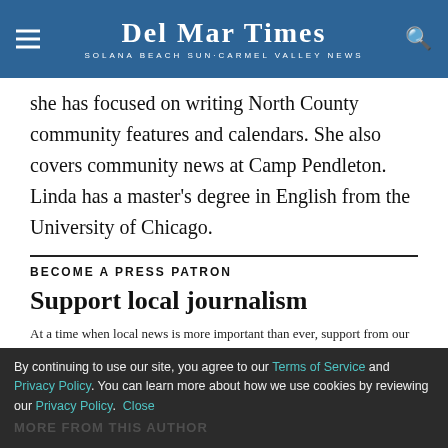Del Mar Times — Solana Beach Sun-Carmel Valley News
she has focused on writing North County community features and calendars. She also covers community news at Camp Pendleton. Linda has a master's degree in English from the University of Chicago.
BECOME A PRESS PATRON
Support local journalism
At a time when local news is more important than ever, support from our readers is essential. If you are able to, please support us today.
By continuing to use our site, you agree to our Terms of Service and Privacy Policy. You can learn more about how we use cookies by reviewing our Privacy Policy. Close